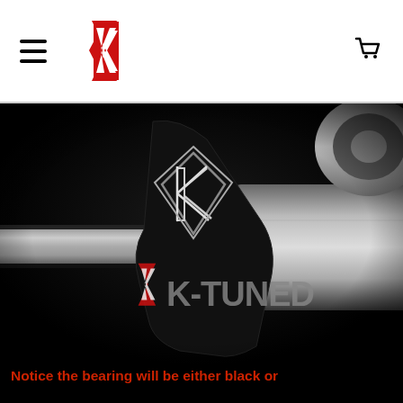K-Tuned (navigation header with hamburger menu, logo, and cart icon)
[Figure (photo): Close-up product photo of a K-Tuned branded automotive part (axle/shaft component) against a dark black background. A black component with the K-Tuned diamond K logo outlined in white is visible, along with a metallic shaft. The K-Tuned logo in red and grey is overlaid on the lower center of the image.]
Notice the bearing will be either black or